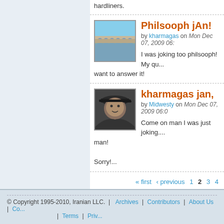hardliners.
Philsooph jAn!
by kharmagas on Mon Dec 07, 2009 06:...
[Figure (photo): Photo of a bridge over water with arches, blue sky]
I was joking too philsooph! My qu... want to answer it!
kharmagas jan,
by Midwesty on Mon Dec 07, 2009 06:0...
[Figure (photo): Photo of a man wearing a cap, dark jacket]
Come on man I was just joking.... man!
Sorry!...
« first ‹ previous 1 2 3 4
© Copyright 1995-2010, Iranian LLC. | Archives | Contributors | About Us | Co... | Terms | Priv...